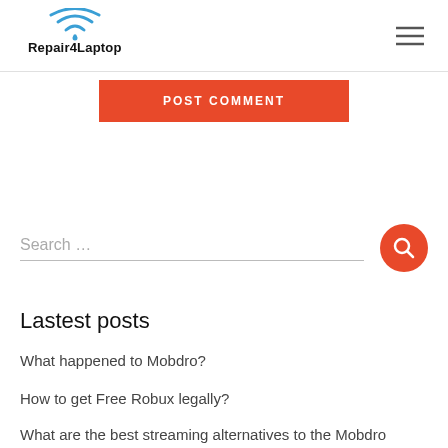Repair4Laptop
POST COMMENT
Search ...
Lastest posts
What happened to Mobdro?
How to get Free Robux legally?
What are the best streaming alternatives to the Mobdro